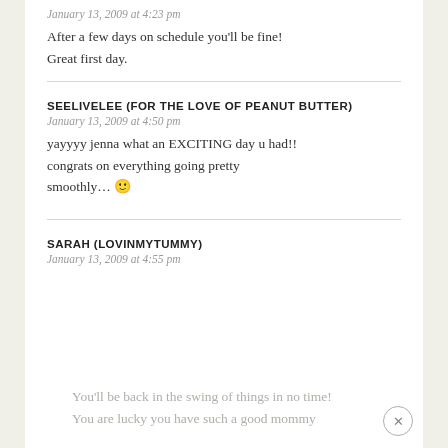January 13, 2009 at 4:23 pm
After a few days on schedule you'll be fine! Great first day.
SEELIVELEE (FOR THE LOVE OF PEANUT BUTTER)
January 13, 2009 at 4:50 pm
yayyyy jenna what an EXCITING day u had!! congrats on everything going pretty smoothly… 🙂
SARAH (LOVINMYTUMMY)
January 13, 2009 at 4:55 pm
You'll be back in the swing of things in no time! You are lucky you have such a good mommy